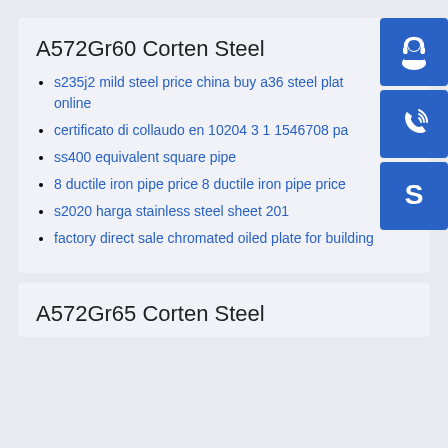A572Gr60 Corten Steel
s235j2 mild steel price china buy a36 steel plate online
certificato di collaudo en 10204 3 1 1546708 pa
ss400 equivalent square pipe
8 ductile iron pipe price 8 ductile iron pipe price
s2020 harga stainless steel sheet 201
factory direct sale chromated oiled plate for building
[Figure (infographic): Three blue square icon buttons stacked vertically on the right side: headset/support icon, phone/call icon, Skype icon]
A572Gr65 Corten Steel